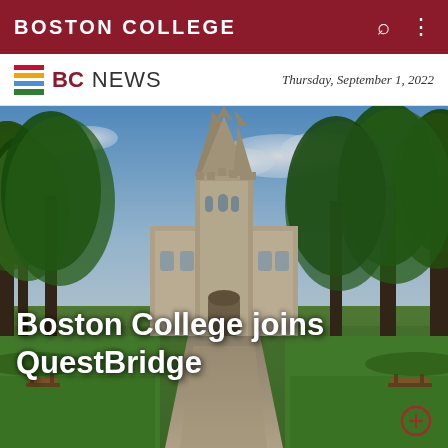BOSTON COLLEGE
BC NEWS — Thursday, September 1, 2022
[Figure (photo): Exterior view of Boston College Gasson Hall Gothic tower seen through tree-lined path on a sunny day, with green lawn and benches visible]
Boston College joins QuestBridge